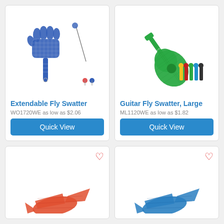[Figure (photo): Extendable Fly Swatter product image - blue hand-shaped fly swatter with extendable handle, shown with color variants]
Extendable Fly Swatter
WO1720WE as low as $2.06
[Figure (photo): Guitar Fly Swatter Large product image - green guitar-shaped fly swatter with color variant handles shown]
Guitar Fly Swatter, Large
ML1120WE as low as $1.82
[Figure (photo): Partial product image bottom left - red/orange airplane or star shaped fly swatter]
[Figure (photo): Partial product image bottom right - blue airplane or star shaped fly swatter]